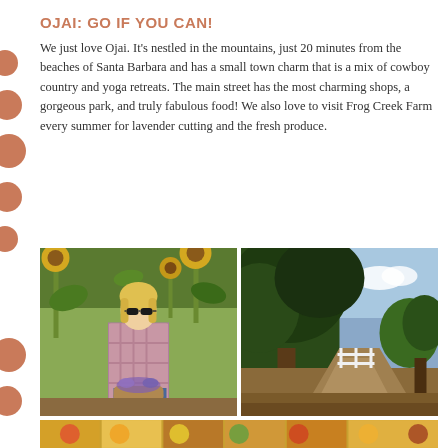OJAI: GO IF YOU CAN!
We just love Ojai. It's nestled in the mountains, just 20 minutes from the beaches of Santa Barbara and has a small town charm that is a mix of cowboy country and yoga retreats. The main street has the most charming shops, a gorgeous park, and truly fabulous food! We also love to visit Frog Creek Farm every summer for lavender cutting and the fresh produce.
[Figure (photo): Woman with blonde hair and sunglasses in a plaid shirt, holding a basket of lavender, standing among sunflowers and garden plants at Frog Creek Farm]
[Figure (photo): Tree-lined dirt path or road at Frog Creek Farm, with a white fence visible in the background and blue sky above]
[Figure (photo): Bottom strip partial image, appears to show colorful market or farm produce scene]